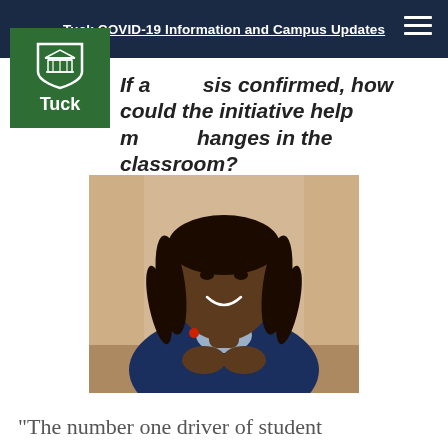Tuck COVID-19 Information and Campus Updates
If a crisis confirmed, how could the initiative help make changes in the classroom?
[Figure (photo): Portrait photo of a smiling man with dreadlocks wearing a navy blue zip-up sweater, seated at a table with hands clasped, photographed indoors with a light background.]
“The number one driver of student